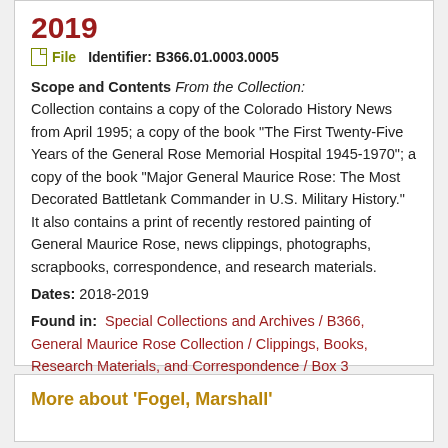2019
File   Identifier: B366.01.0003.0005
Scope and Contents From the Collection: Collection contains a copy of the Colorado History News from April 1995; a copy of the book "The First Twenty-Five Years of the General Rose Memorial Hospital 1945-1970"; a copy of the book "Major General Maurice Rose: The Most Decorated Battletank Commander in U.S. Military History." It also contains a print of recently restored painting of General Maurice Rose, news clippings, photographs, scrapbooks, correspondence, and research materials.
Dates: 2018-2019
Found in: Special Collections and Archives / B366, General Maurice Rose Collection / Clippings, Books, Research Materials, and Correspondence / Box 3
More about 'Fogel, Marshall'